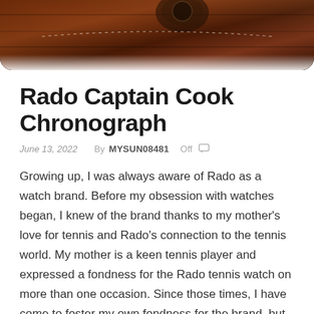[Figure (photo): Close-up photo of a dark brown leather watch strap and the edge of a watch, with rich chocolatey tones, forming a decorative hero image at the top of the page.]
Rado Captain Cook Chronograph
June 13, 2022   By MYSUN08481   Off
Growing up, I was always aware of Rado as a watch brand. Before my obsession with watches began, I knew of the brand thanks to my mother's love for tennis and Rado's connection to the tennis world. My mother is a keen tennis player and expressed a fondness for the Rado tennis watch on more than one occasion. Since those times, I have come to foster my own fondness for the brand, but that's down to its Captain Cook line. And this fondness is only enhanced further by the addition of